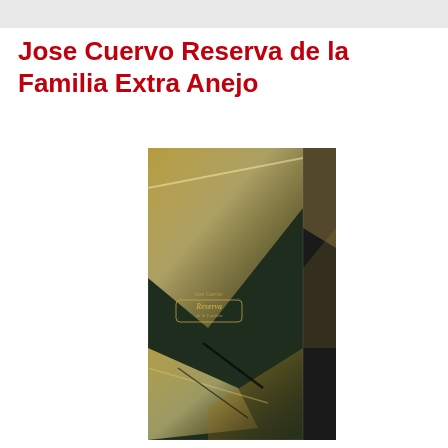Jose Cuervo Reserva de la Familia Extra Anejo
[Figure (photo): Close-up photograph of Jose Cuervo Reserva de la Familia tequila bottle box, showing a dark green textured surface with gold/metallic diagonal streaks and light reflections, with the Reserva de la Familia emblem visible on the front.]